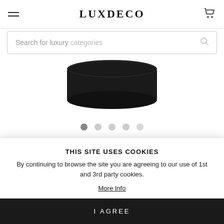LUXDECO
Search for luxury categories
[Figure (photo): Bottom portion of a dark candle jar product photo against white background]
CIRE TRUDON
Odalisque Classic Candle
£80
THIS SITE USES COOKIES
By continuing to browse the site you are agreeing to our use of 1st and 3rd party cookies.
More Info
I AGREE